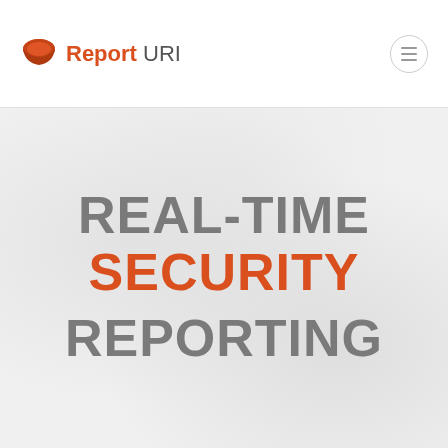Report URI
REAL-TIME SECURITY REPORTING